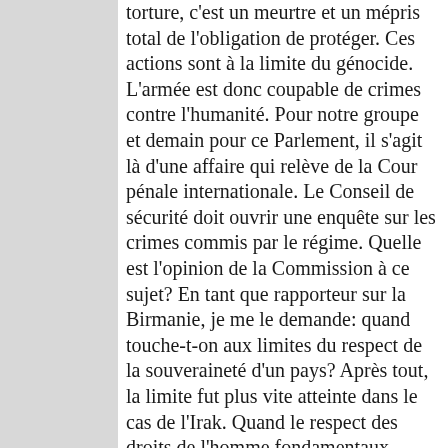torture, c'est un meurtre et un mépris total de l'obligation de protéger. Ces actions sont à la limite du génocide. L'armée est donc coupable de crimes contre l'humanité. Pour notre groupe et demain pour ce Parlement, il s'agit là d'une affaire qui relève de la Cour pénale internationale. Le Conseil de sécurité doit ouvrir une enquête sur les crimes commis par le régime. Quelle est l'opinion de la Commission à ce sujet? En tant que rapporteur sur la Birmanie, je me le demande: quand touche-t-on aux limites du respect de la souveraineté d'un pays? Après tout, la limite fut plus vite atteinte dans le cas de l'Irak. Quand le respect des droits de l'homme fondamentaux devient-il inviolable pour cette même communauté internationale? Actuellement, la crédibilité des droits de l'homme est entachée